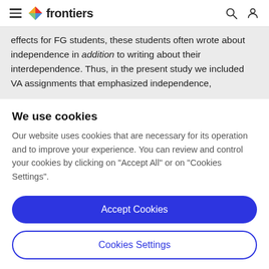frontiers
effects for FG students, these students often wrote about independence in addition to writing about their interdependence. Thus, in the present study we included VA assignments that emphasized independence,
We use cookies
Our website uses cookies that are necessary for its operation and to improve your experience. You can review and control your cookies by clicking on "Accept All" or on "Cookies Settings".
Accept Cookies
Cookies Settings